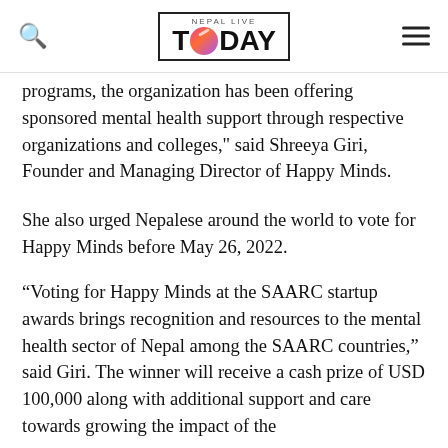NEPAL LIVE TODAY
programs, the organization has been offering sponsored mental health support through respective organizations and colleges," said Shreeya Giri, Founder and Managing Director of Happy Minds.
She also urged Nepalese around the world to vote for Happy Minds before May 26, 2022.
“Voting for Happy Minds at the SAARC startup awards brings recognition and resources to the mental health sector of Nepal among the SAARC countries,” said Giri. The winner will receive a cash prize of USD 100,000 along with additional support and care towards growing the impact of the